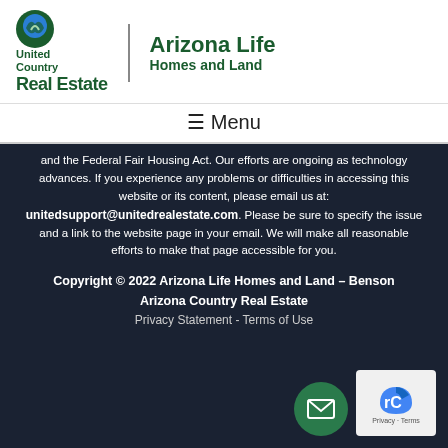[Figure (logo): United Country Real Estate and Arizona Life Homes and Land combined logo]
☰ Menu
and the Federal Fair Housing Act. Our efforts are ongoing as technology advances. If you experience any problems or difficulties in accessing this website or its content, please email us at: unitedsupport@unitedrealestate.com. Please be sure to specify the issue and a link to the website page in your email. We will make all reasonable efforts to make that page accessible for you.
Copyright © 2022 Arizona Life Homes and Land – Benson Arizona Country Real Estate
Privacy Statement - Terms of Use